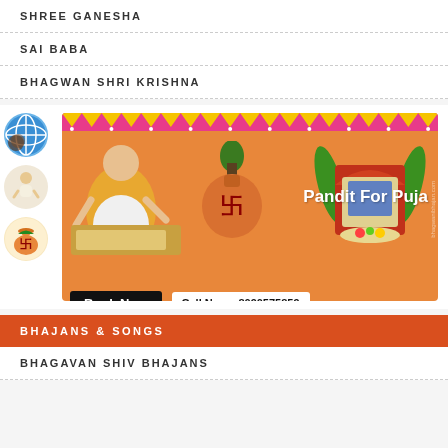SHREE GANESHA
SAI BABA
BHAGWAN SHRI KRISHNA
[Figure (illustration): Pandit For Puja advertisement banner with orange background, a pandit writing, a kalash pot with swastika symbol, a decorated puja mandap, Book Now button and Call Now:- 8090575859]
BHAJANS & SONGS
BHAGAVAN SHIV BHAJANS